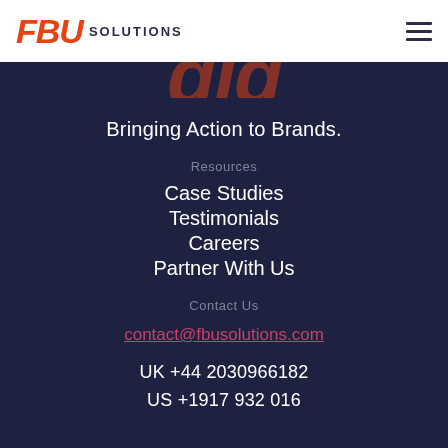FBU SOLUTIONS
Bringing Action to Brands.
Resources
Case Studies
Testimonials
Careers
Partner With Us
Contact Us
contact@fbusolutions.com
UK +44 2030966182
US +1917 932 016